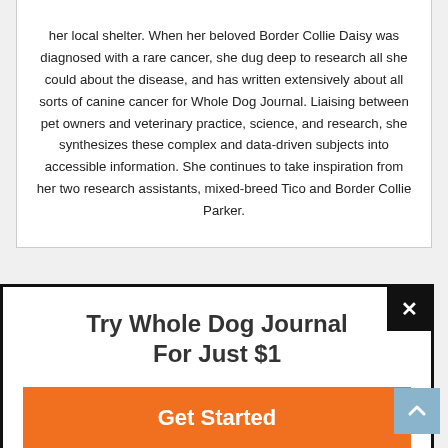her local shelter. When her beloved Border Collie Daisy was diagnosed with a rare cancer, she dug deep to research all she could about the disease, and has written extensively about all sorts of canine cancer for Whole Dog Journal. Liaising between pet owners and veterinary practice, science, and research, she synthesizes these complex and data-driven subjects into accessible information. She continues to take inspiration from her two research assistants, mixed-breed Tico and Border Collie Parker.
Try Whole Dog Journal For Just $1
Get Started